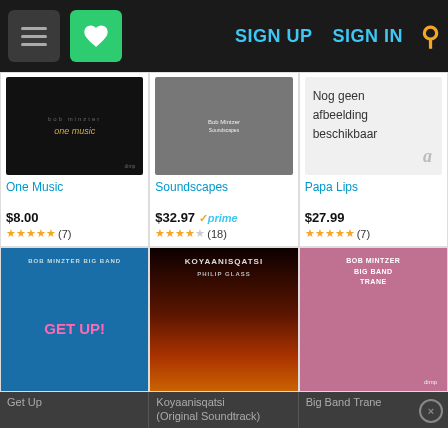SIGN UP  SIGN IN
[Figure (photo): Album cover: One Music by Bob Minzter - dark background with golden instrument]
One Music
$8.00
★★★★★ (7)
[Figure (photo): Album cover: Soundscapes by Bob Mintzer - man holding saxophone]
Soundscapes
$32.97 ✓prime
★★★★☆ (18)
[Figure (photo): Placeholder image: Nog geen afbeelding beschikbaar (No image available) with Amazon logo]
Papa Lips
$27.99
★★★★★ (7)
[Figure (photo): Album cover: Get Up - Bob Minzter Big Band, blue background with pink text]
[Figure (photo): Album cover: Koyaanisqatsi (Original Soundtrack) - dark fiery background]
[Figure (photo): Album cover: Big Band Trane by Bob Mintzer - pink/mauve background]
Get Up
Koyaanisqatsi (Original Soundtrack)
Big Band Trane